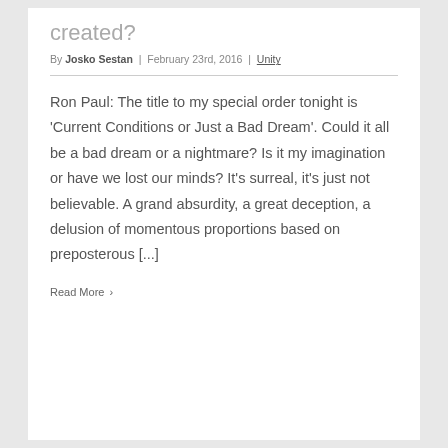created?
By Josko Sestan | February 23rd, 2016 | Unity
Ron Paul: The title to my special order tonight is 'Current Conditions or Just a Bad Dream'. Could it all be a bad dream or a nightmare? Is it my imagination or have we lost our minds? It's surreal, it's just not believable. A grand absurdity, a great deception, a delusion of momentous proportions based on preposterous [...]
Read More ›